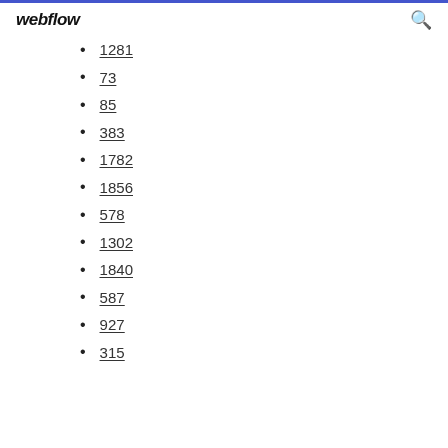webflow
1281
73
85
383
1782
1856
578
1302
1840
587
927
315